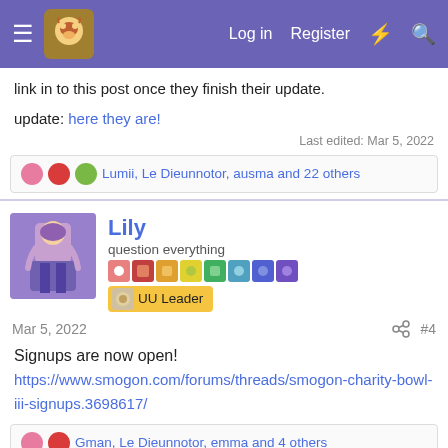Smogon forum navigation bar with Log in, Register links
link in to this post once they finish their update.
update: here they are!
Last edited: Mar 5, 2022
Lumii, Le Dieunnotor, ausma and 22 others
Lily
question everything
UU Leader
Mar 5, 2022  #4
Signups are now open!
https://www.smogon.com/forums/threads/smogon-charity-bowl-iii-signups.3698617/
Gman, Le Dieunnotor, emma and 4 others